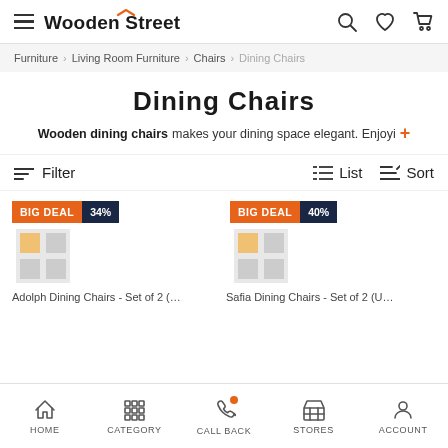Wooden Street — navigation header with hamburger menu, logo, search, wishlist, and cart icons
Furniture > Living Room Furniture > Chairs > Dining Chairs
Dining Chairs
Wooden dining chairs makes your dining space elegant. Enjoyi +
Filter  |  List  |  Sort
[Figure (screenshot): Product card 1 with BIG DEAL 34% badge and product image placeholder]
[Figure (screenshot): Product card 2 with BIG DEAL 40% badge and product image placeholder]
Adolph Dining Chairs - Set of 2 (…
Safia Dining Chairs - Set of 2 (U…
HOME  CATEGORY  CALL BACK  STORES  ACCOUNT